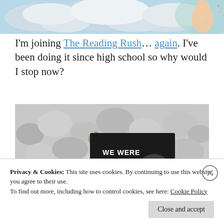[Figure (photo): Top image showing clouds and sky with a decorative illustration on the right side]
I'm joining The Reading Rush… again. I've been doing it since high school so why would I stop now?
[Figure (photo): Photo of a book cover on gravel/rocks background. The book cover is black with white text reading 'WE WERE ALL SOMEONE ELSE YESTERDAY' and an illustration of a face with teal eyes]
Privacy & Cookies: This site uses cookies. By continuing to use this website, you agree to their use. To find out more, including how to control cookies, see here: Cookie Policy
Close and accept